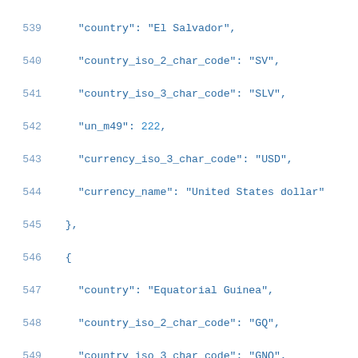Code listing lines 539-561 showing JSON data for countries El Salvador, Equatorial Guinea, Eritrea with fields: country, country_iso_2_char_code, country_iso_3_char_code, un_m49, currency_iso_3_char_code, currency_name